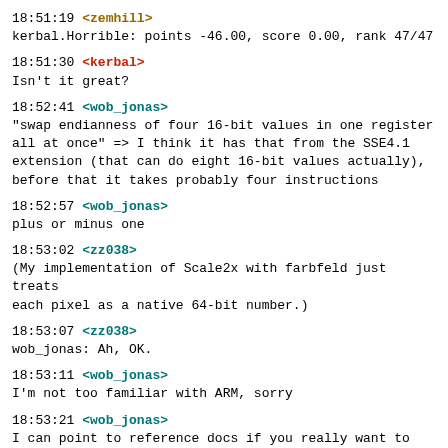18:51:19 <zemhill>
kerbal.Horrible: points -46.00, score 0.00, rank 47/47
18:51:30 <kerbal>
Isn't it great?
18:52:41 <wob_jonas>
"swap endianness of four 16-bit values in one register all at once" => I think it has that from the SSE4.1 extension (that can do eight 16-bit values actually), before that it takes probably four instructions
18:52:57 <wob_jonas>
plus or minus one
18:53:02 <zz038>
(My implementation of Scale2x with farbfeld just treats each pixel as a native 64-bit number.)
18:53:07 <zz038>
wob_jonas: Ah, OK.
18:53:11 <wob_jonas>
I'm not too familiar with ARM, sorry
18:53:21 <wob_jonas>
I can point to reference docs if you really want to find out
18:53:36 <wob_jonas>
I try to only care about x86_64
18:53:51 <shachaf>
wob_jonas: The algebraic structure of the reals seems